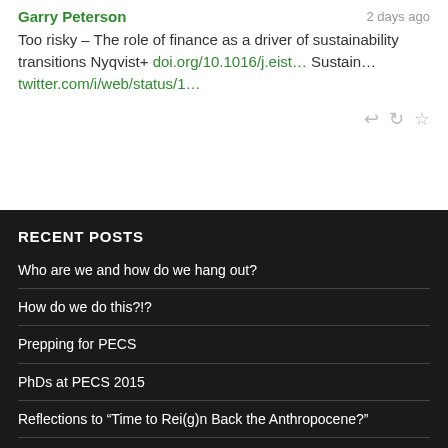Garry Peterson
2 days ago
Too risky – The role of finance as a driver of sustainability transitions Nyqvist+ doi.org/10.1016/j.eist… Sustain… twitter.com/i/web/status/1…
RECENT POSTS
Who are we and how do we hang out?
How do we do this?!?
Prepping for PECS
PhDs at PECS 2015
Reflections to “Time to Rei(g)n Back the Anthropocene?”
Harder, Faster, Stronger – How Financial Markets are Shaping the Biosphere